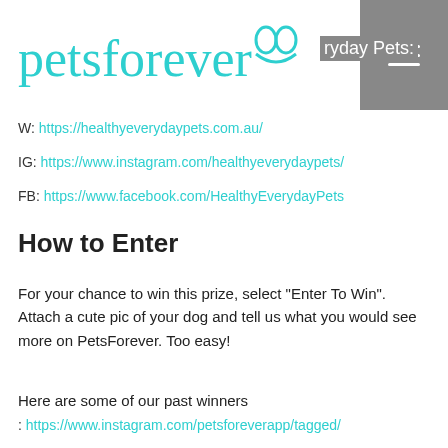petsforever [logo] | ryday Pets: [navigation]
W: https://healthyeverydaypets.com.au/
IG: https://www.instagram.com/healthyeverydaypets/
FB: https://www.facebook.com/HealthyEverydayPets
How to Enter
For your chance to win this prize, select "Enter To Win". Attach a cute pic of your dog and tell us what you would see more on PetsForever. Too easy!
Here are some of our past winners
: https://www.instagram.com/petsforeverapp/tagged/